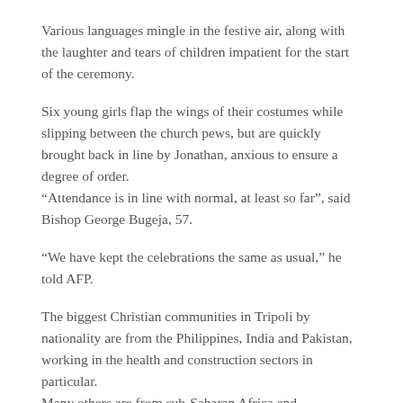Various languages mingle in the festive air, along with the laughter and tears of children impatient for the start of the ceremony.
Six young girls flap the wings of their costumes while slipping between the church pews, but are quickly brought back in line by Jonathan, anxious to ensure a degree of order.
“Attendance is in line with normal, at least so far”, said Bishop George Bugeja, 57.
“We have kept the celebrations the same as usual,” he told AFP.
The biggest Christian communities in Tripoli by nationality are from the Philippines, India and Pakistan, working in the health and construction sectors in particular.
Many others are from sub-Saharan Africa and particularly vulnerable due to a lack of immigration paperwork.
READ MORE HERE: